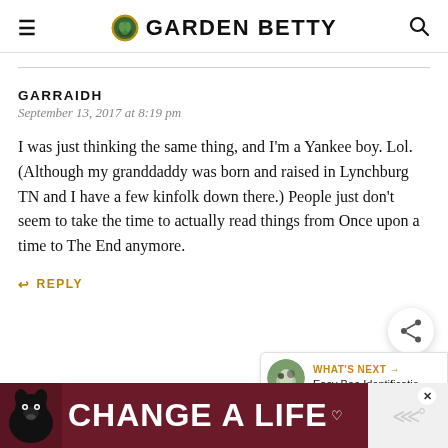GARDEN BETTY
GARRAIDH
September 13, 2017 at 8:19 pm
I was just thinking the same thing, and I'm a Yankee boy. Lol. (Although my granddaddy was born and raised in Lynchburg TN and I have a few kinfolk down there.) People just don't seem to take the time to actually read things from Once upon a time to The End anymore.
REPLY
[Figure (screenshot): Ad banner at the bottom: dark red background with a dog image and text 'CHANGE A LIFE' in white bold letters with a heart icon and close button.]